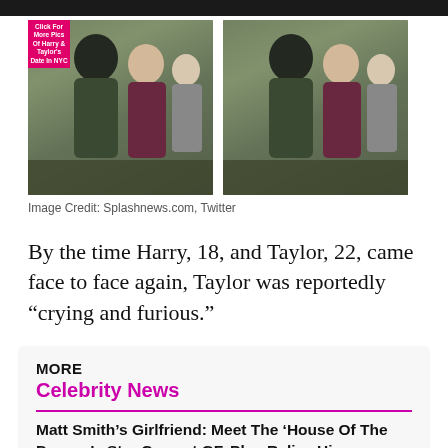[Figure (photo): Two side-by-side photos of Harry and Taylor walking together outdoors. Both photos show a young man in a black beanie and olive jacket next to a young woman in a dark red coat, with an older man visible behind them. Left photo has a pink badge overlay reading 'Click For More Pics Of Harry & Taylor's Date In NYC'.]
Image Credit: Splashnews.com, Twitter
By the time Harry, 18, and Taylor, 22, came face to face again, Taylor was reportedly “crying and furious.”
MORE
Celebrity News
Matt Smith’s Girlfriend: Meet The ‘House Of The Dragon’s Star Current GF, Plus Relive His